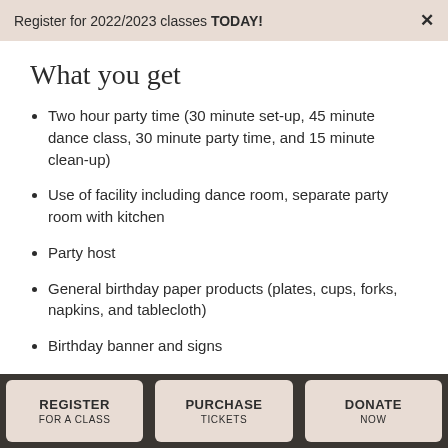Register for 2022/2023 classes TODAY! ×
What you get
Two hour party time (30 minute set-up, 45 minute dance class, 30 minute party time, and 15 minute clean-up)
Use of facility including dance room, separate party room with kitchen
Party host
General birthday paper products (plates, cups, forks, napkins, and tablecloth)
Birthday banner and signs
Up to 15 guests ($5 charge for each additional guest)
REGISTER FOR A CLASS | PURCHASE TICKETS | DONATE NOW